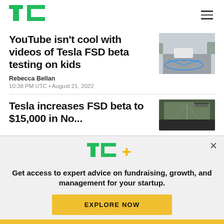TechCrunch
YouTube isn't cool with videos of Tesla FSD beta testing on kids
Rebecca Bellan
10:38 PM UTC • August 21, 2022
[Figure (photo): Tesla car on highway with blue FSD visualization lines]
Tesla increases FSD beta to $15,000 in North...
[Figure (photo): Tesla FSD interior dashboard view]
[Figure (other): TC+ logo promo card with text: Get access to expert advice on fundraising, growth, and management for your startup. EXPLORE NOW button.]